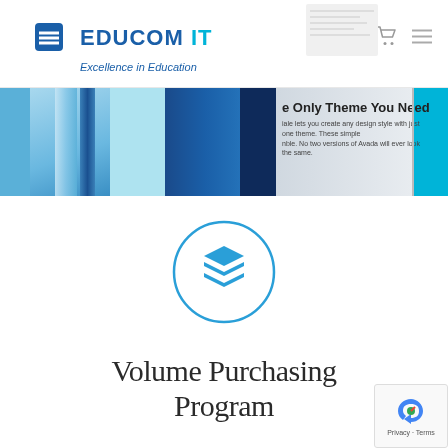[Figure (logo): EDUCOM IT logo with blue diamond icon and tagline 'Excellence in Education']
[Figure (screenshot): Website banner showing blue gradient design with partially visible text 'e Only Theme You Need' and descriptive subtitle text]
[Figure (illustration): Circular icon with stacked layers symbol in blue, representing volume/layers]
Volume Purchasing Program